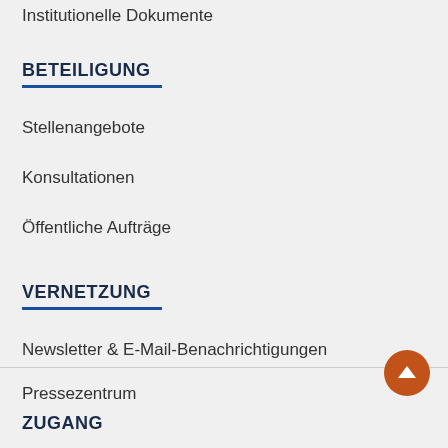Institutionelle Dokumente
BETEILIGUNG
Stellenangebote
Konsultationen
Öffentliche Aufträge
VERNETZUNG
Newsletter & E-Mail-Benachrichtigungen
Pressezentrum
Kontakt
ZUGANG